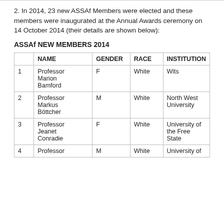2. In 2014, 23 new ASSAf Members were elected and these members were inaugurated at the Annual Awards ceremony on 14 October 2014 (their details are shown below):
ASSAf NEW MEMBERS 2014
|  | NAME | GENDER | RACE | INSTITUTION |
| --- | --- | --- | --- | --- |
| 1 | Professor Marion Bamford | F | White | Wits |
| 2 | Professor Markus Böttcher | M | White | North West University |
| 3 | Professor Jeanet Conradie | F | White | University of the Free State |
| 4 | Professor | M | White | University of |